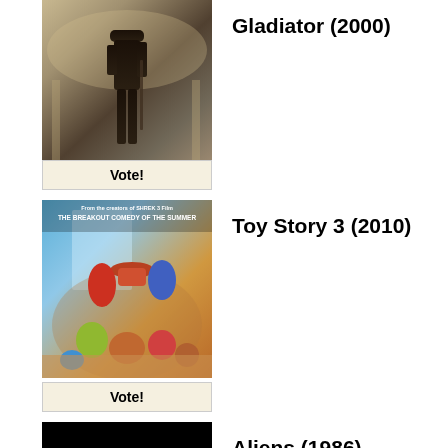[Figure (photo): Movie poster for Gladiator (2000) showing a warrior figure in ancient Roman armor with a sepia/golden tone]
Vote!
Gladiator (2000)
[Figure (photo): Movie poster for Toy Story 3 (2010) showing animated characters including Woody, Buzz Lightyear, Jessie, and other toys with text 'The Breakout Comedy of the Summer']
Vote!
Toy Story 3 (2010)
[Figure (photo): Movie poster for Aliens (1986) with black background and tagline 'There Are Some Places In The Universe You Don't Go Alone']
Aliens (1986)